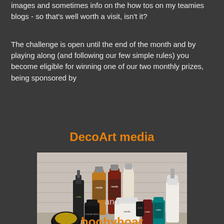images and sometimes info on the how tos on my teamies blogs - so that's well worth a visit, isn't it?
The challenge is open until the end of the month and by playing along (and following our few simple rules) you become eligible for winning one of our two monthly prizes, being sponsored by
DecoArt media
[Figure (photo): A collection of DecoArt media art products including bottles, jars, and containers of various paints and mediums arranged together on a surface in front of a white brick wall background.]
and
hoobyhoar